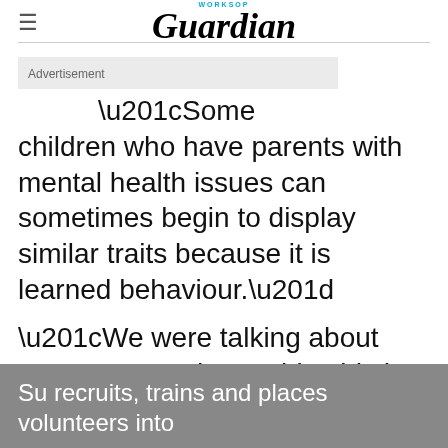WORKSOP Guardian
Advertisement
“Some children who have parents with mental health issues can sometimes begin to display similar traits because it is learned behaviour.”
“We were talking about OCD once and one girl said she realised now that her gran had it. Talking about it improves people’s awareness.”
Su recruits, trains and places volunteers into